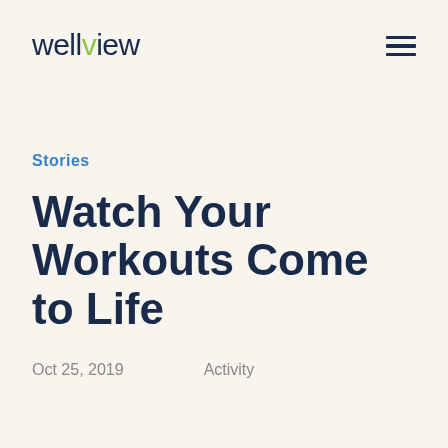wellview
Stories
Watch Your Workouts Come to Life
Oct 25, 2019    Activity